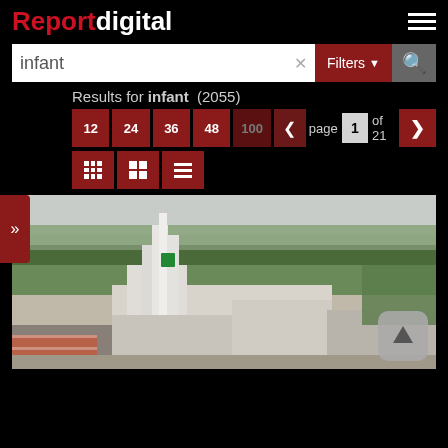Reportdigital
infant  ×  Filters  🔍
Results for infant  (2055)
12  24  36  48  100  <  page 1 of 21  >
[Figure (screenshot): Aerial photograph of an industrial/factory complex surrounded by green trees and suburban area]
[Figure (other): Scroll to top button (upward arrow in rounded rectangle)]